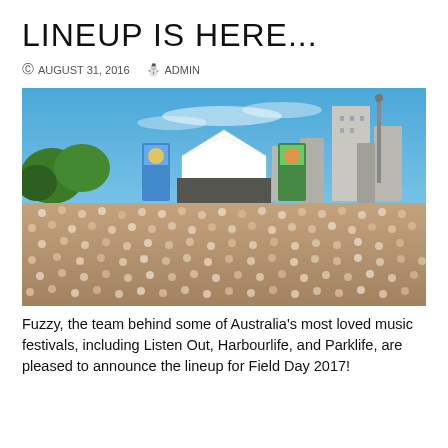LINEUP IS HERE...
AUGUST 31, 2016   ADMIN
[Figure (photo): Aerial view of a large outdoor music festival crowd in front of a white tent stage, with Sydney city skyline and blue sky in the background. Colorful festival banners flank the stage.]
Fuzzy, the team behind some of Australia's most loved music festivals, including Listen Out, Harbourlife, and Parklife, are pleased to announce the lineup for Field Day 2017!